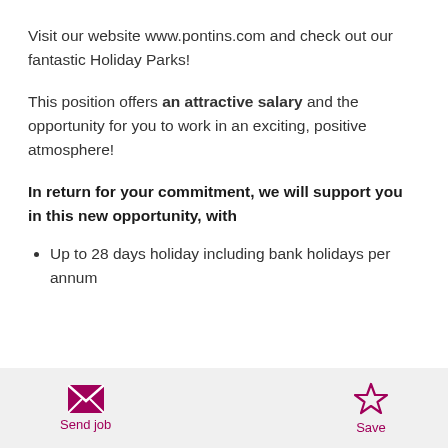Visit our website www.pontins.com and check out our fantastic Holiday Parks!
This position offers an attractive salary and the opportunity for you to work in an exciting, positive atmosphere!
In return for your commitment, we will support you in this new opportunity, with
Up to 28 days holiday including bank holidays per annum
Discounted stays for you & your family at any of
Send job | Save